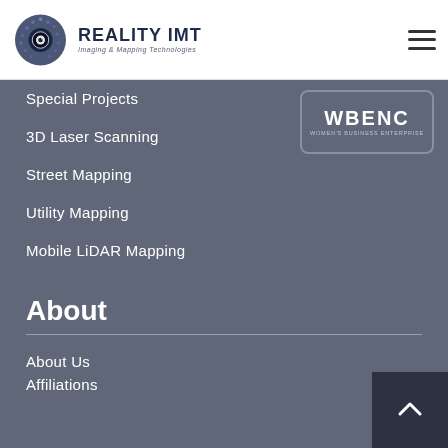[Figure (logo): Reality IMT logo — hexagonal globe icon with camera eye, text 'REALITY IMT Imaging & Mapping Technologies']
[Figure (logo): WBENC Women's Business Enterprise badge/logo in rounded rectangle border]
Special Projects
3D Laser Scanning
Street Mapping
Utility Mapping
Mobile LiDAR Mapping
About
About Us
Affiliations